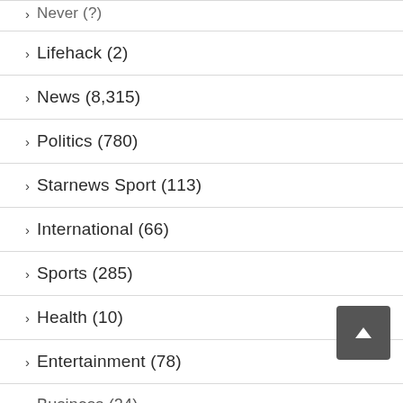Never (?)
Lifehack (2)
News (8,315)
Politics (780)
Starnews Sport (113)
International (66)
Sports (285)
Health (10)
Entertainment (78)
Business (24)